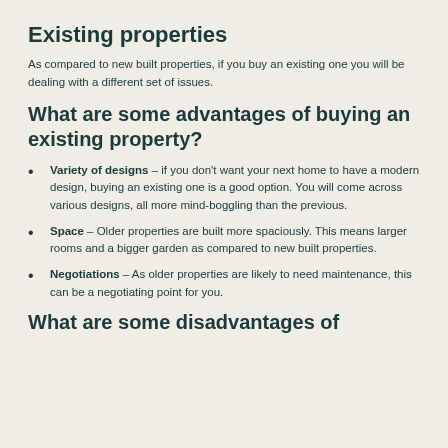Existing properties
As compared to new built properties, if you buy an existing one you will be dealing with a different set of issues.
What are some advantages of buying an existing property?
Variety of designs – if you don't want your next home to have a modern design, buying an existing one is a good option. You will come across various designs, all more mind-boggling than the previous.
Space – Older properties are built more spaciously. This means larger rooms and a bigger garden as compared to new built properties.
Negotiations – As older properties are likely to need maintenance, this can be a negotiating point for you.
What are some disadvantages of